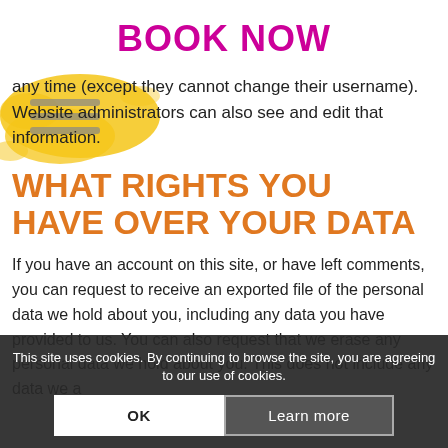BOOK NOW
any time (except they cannot change their username). Website administrators can also see and edit that information.
WHAT RIGHTS YOU HAVE OVER YOUR DATA
If you have an account on this site, or have left comments, you can request to receive an exported file of the personal data we hold about you, including any data you have provided to us. You can also request that we erase any personal data we hold about you. This does not include any data we a
This site uses cookies. By continuing to browse the site, you are agreeing to our use of cookies.